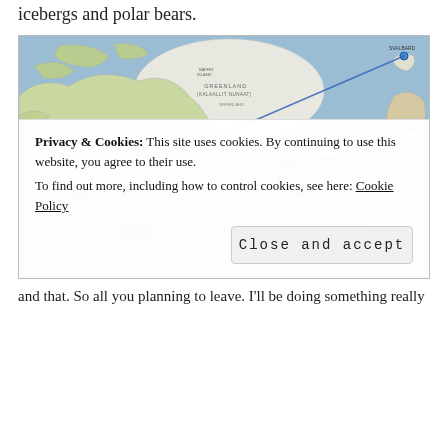icebergs and polar bears.
[Figure (map): World map showing North Atlantic region with a blue line drawn from western North America (near Vancouver/Seattle area) to northern Norway/Svalbard, passing over Greenland and the North Atlantic Ocean. Map shows Canada, United States, Greenland (Kalaallit Nunaat), Iceland, and northwestern Europe including UK, France, Spain and Scandinavia.]
Privacy & Cookies: This site uses cookies. By continuing to use this website, you agree to their use.
To find out more, including how to control cookies, see here: Cookie Policy
Close and accept
and that. So all you planning to leave. I'll be doing something really